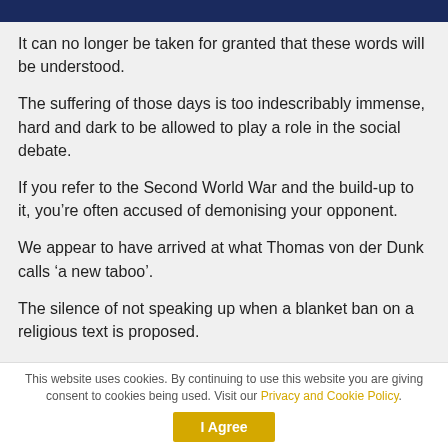It can no longer be taken for granted that these words will be understood.
The suffering of those days is too indescribably immense, hard and dark to be allowed to play a role in the social debate.
If you refer to the Second World War and the build-up to it, you’re often accused of demonising your opponent.
We appear to have arrived at what Thomas von der Dunk calls ‘a new taboo’.
The silence of not speaking up when a blanket ban on a religious text is proposed.
This website uses cookies. By continuing to use this website you are giving consent to cookies being used. Visit our Privacy and Cookie Policy.